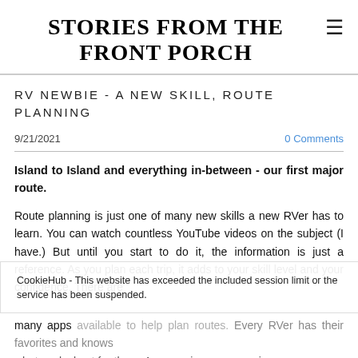STORIES FROM THE FRONT PORCH
RV NEWBIE - A NEW SKILL, ROUTE PLANNING
9/21/2021
0 Comments
Island to Island and everything in-between - our first major route.
Route planning is just one of many new skills a new RVer has to learn. You can watch countless YouTube videos on the subject (I have.) But until you start to do it, the information is just a reference. As you plan each trip, it adds to your skill level and your confidence. There are many apps available to help plan routes. Every RVer has their favorites and knows what works best for them. As we gain more experience we
CookieHub - This website has exceeded the included session limit or the service has been suspended.